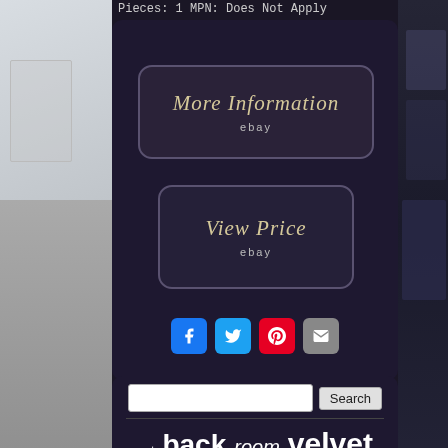Pieces: 1 MPN: Does Not Apply
[Figure (screenshot): More Information button with italic gold text and 'ebay' subtitle on dark background]
[Figure (screenshot): View Price button with italic gold text and 'ebay' subtitle on dark background]
[Figure (infographic): Social sharing icons: Facebook (blue), Twitter (blue), Pinterest (red), Email (grey)]
[Figure (screenshot): Search bar with Search button]
accent back room velvet seat dining blue vintage antique chairs legs kitchen tufted